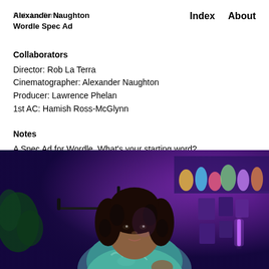Rob La Terra / Alexander Naughton  Wordle Spec Ad   Index   About
Collaborators
Director: Rob La Terra
Cinematographer: Alexander Naughton
Producer: Lawrence Phelan
1st AC: Hamish Ross-McGlynn
Notes
A Spec Ad for Wordle. What's your starting word?
[Figure (photo): A young woman with curly hair in a purple-lit room, sitting in front of a microphone, wearing a teal tie-dye hoodie. Shelves with figurines and posters on the wall behind her.]